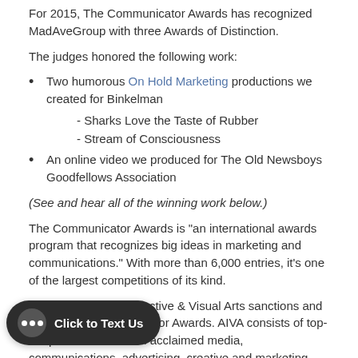For 2015, The Communicator Awards has recognized MadAveGroup with three Awards of Distinction.
The judges honored the following work:
Two humorous On Hold Marketing productions we created for Binkelman
- Sharks Love the Taste of Rubber
- Stream of Consciousness
An online video we produced for The Old Newsboys Goodfellows Association
(See and hear all of the winning work below.)
The Communicator Awards is “an international awards program that recognizes big ideas in marketing and communications.” With more than 6,000 entries, it’s one of the largest competitions of its kind.
The Academy of Interactive & Visual Arts sanctions and judges The Communicator Awards. AIVA consists of top-tier professionals from acclaimed media, communications, advertising, creative and marketing firms.